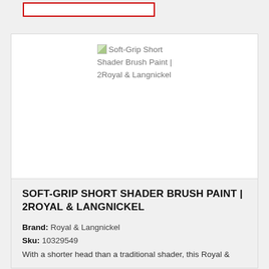[Figure (screenshot): Search input box with red border, partially visible at top of page]
[Figure (photo): Broken image placeholder showing 'Soft-Grip Short Shader Brush Paint | 2Royal & Langnickel' alt text with small landscape thumbnail icon]
SOFT-GRIP SHORT SHADER BRUSH PAINT | 2ROYAL & LANGNICKEL
Brand: Royal & Langnickel
Sku: 10329549
With a shorter head than a traditional shader, this Royal &